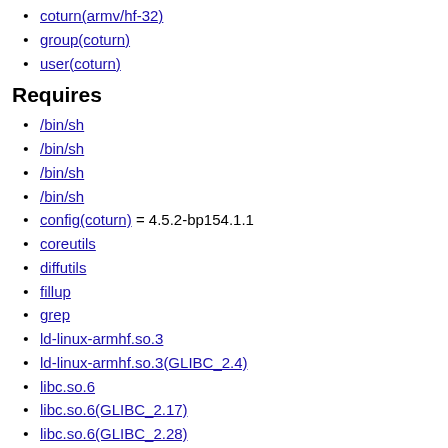coturn(armv/hf-32)
group(coturn)
user(coturn)
Requires
/bin/sh
/bin/sh
/bin/sh
/bin/sh
config(coturn) = 4.5.2-bp154.1.1
coreutils
diffutils
fillup
grep
ld-linux-armhf.so.3
ld-linux-armhf.so.3(GLIBC_2.4)
libc.so.6
libc.so.6(GLIBC_2.17)
libc.so.6(GLIBC_2.28)
libc.so.6(GLIBC_2.4)
libc.so.6(GLIBC_2.7)
libcrypto.so.1.1
libcrypto.so.1.1(OPENSSL_1_1_0)
libevent_core-2.1.so.6